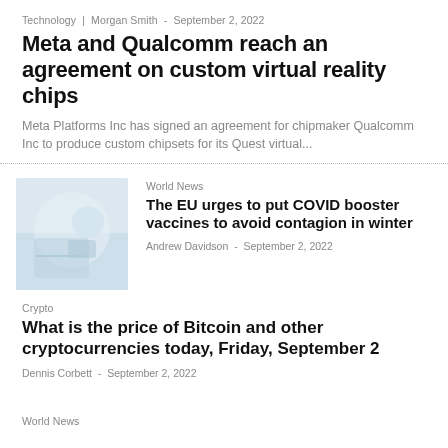Technology | Morgan Smith - September 2, 2022
Meta and Qualcomm reach an agreement on custom virtual reality chips
Meta Platforms Inc has signed an agreement for chipmaker Qualcomm Inc to produce custom chipsets for its Quest virtual...
World News
[Figure (photo): Photo related to COVID vaccine/booster article]
The EU urges to put COVID booster vaccines to avoid contagion in winter
Andrew Davidson - September 2, 2022
Crypto
What is the price of Bitcoin and other cryptocurrencies today, Friday, September 2
Dennis Corbett - September 2, 2022
World News